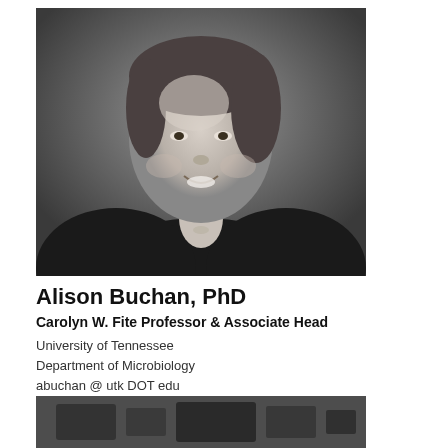[Figure (photo): Black and white professional headshot of Alison Buchan, a woman smiling, wearing a dark blazer, with hair pulled back]
Alison Buchan, PhD
Carolyn W. Fite Professor & Associate Head
University of Tennessee
Department of Microbiology
abuchan @ utk DOT edu
[Figure (photo): Partial black and white photo visible at the bottom of the page]